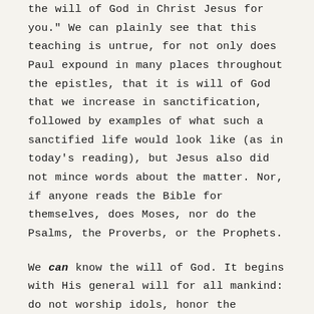the will of God in Christ Jesus for you." We can plainly see that this teaching is untrue, for not only does Paul expound in many places throughout the epistles, that it is will of God that we increase in sanctification, followed by examples of what such a sanctified life would look like (as in today's reading), but Jesus also did not mince words about the matter. Nor, if anyone reads the Bible for themselves, does Moses, nor do the Psalms, the Proverbs, or the Prophets.
We can know the will of God. It begins with His general will for all mankind: do not worship idols, honor the Sabbath day to keep it holy, do not murder, do not steal, and so on as the Ten